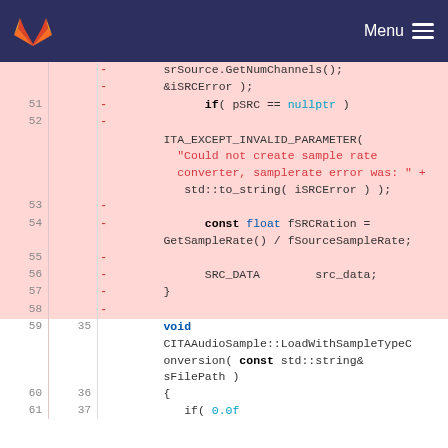GitLab Menu
[Figure (screenshot): Code diff view showing C++ source code with removed lines (highlighted in pink/red background) and normal lines. Lines 51-58 are removed (diff) and lines 59-61 are normal. Code shows a function with if(pSRC == nullptr), ITA_EXCEPT_INVALID_PARAMETER, string concatenation, const float fSRCRation, SRC_DATA src_data, and closing brace. Then new function CITAAudioSample::LoadWithSampleTypeConversion.]